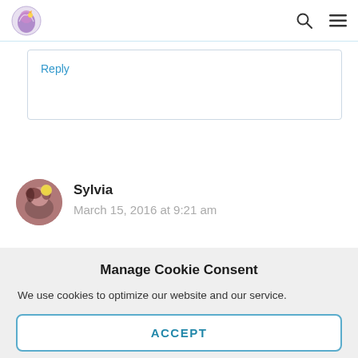Navigation bar with logo, search icon, and menu icon
Reply
Sylvia
March 15, 2016 at 9:21 am
Manage Cookie Consent
We use cookies to optimize our website and our service.
ACCEPT
Cookie Policy  Privacy Statement